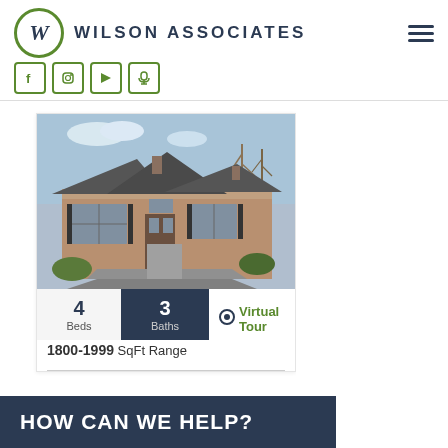WILSON ASSOCIATES
[Figure (logo): Wilson Associates logo with W in a green circle and company name in dark navy letters, with hamburger menu icon on right, and social media icons below (Facebook, Instagram, YouTube, microphone)]
[Figure (photo): Photo of a brick two-story house with gray roof, driveway, and bare trees in background]
4 Beds
3 Baths
Virtual Tour
1800-1999 SqFt Range
HOW CAN WE HELP?